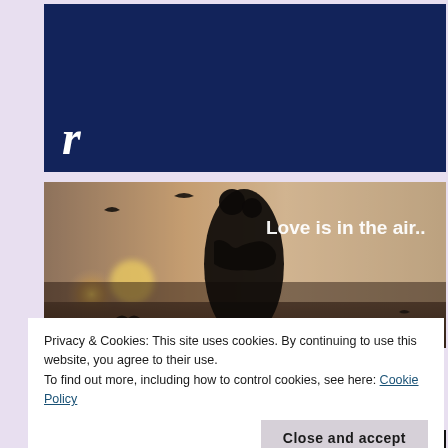[Figure (logo): Dark navy blue header banner with a white bold italic lowercase letter 'r' in the bottom-left corner, resembling a website logo/header.]
[Figure (photo): Romantic silhouette photo of a couple embracing with birds flying in a warm hazy background. White bold text reads 'Love is in the air..' in the upper right area of the image.]
Privacy & Cookies: This site uses cookies. By continuing to use this website, you agree to their use.
To find out more, including how to control cookies, see here: Cookie Policy
Close and accept